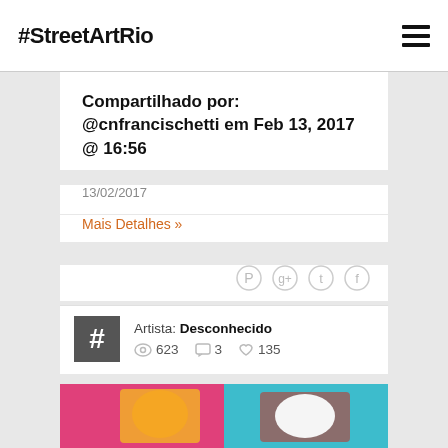#StreetArtRio
Compartilhado por: @cnfrancischetti em Feb 13, 2017 @ 16:56
13/02/2017
Mais Detalhes »
Artista: Desconhecido
623  3  135
[Figure (photo): Street art mural showing colorful cartoon animals: a cat with sunglasses and a bull terrier dog, painted in vibrant pinks, yellows, and teals]